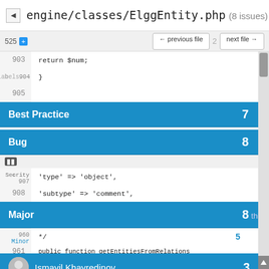engine/classes/ElggEntity.php (8 issues)
525 + ← previous file  next file →
903    return $num;
Labels  904    }
905
Best Practice  7
Bug  8
Security  907    'type' => 'object',
908    'subtype' => 'comment',
Major  8
960    */
Minor  5
961    public function getEntitiesFromRelations
962    $options['relationship_guid'] =
Introduced By  963    return elgg_get_entities($option
Jeroen Dalsem  4
Ismayil Khayredinov  3